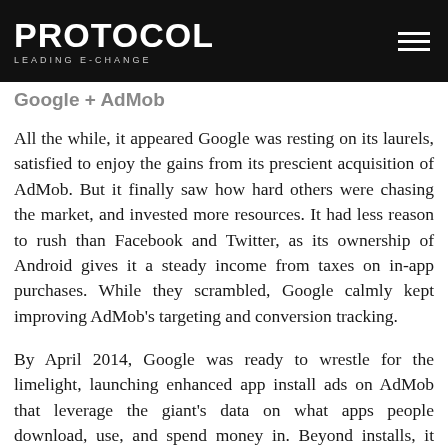PROTOCOL — LEADING e-CHANGE
Google + AdMob
All the while, it appeared Google was resting on its laurels, satisfied to enjoy the gains from its prescient acquisition of AdMob. But it finally saw how hard others were chasing the market, and invested more resources. It had less reason to rush than Facebook and Twitter, as its ownership of Android gives it a steady income from taxes on in-app purchases. While they scrambled, Google calmly kept improving AdMob's targeting and conversion tracking.
By April 2014, Google was ready to wrestle for the limelight, launching enhanced app install ads on AdMob that leverage the giant's data on what apps people download, use, and spend money in. Beyond installs, it would join Facebook and Twitter in